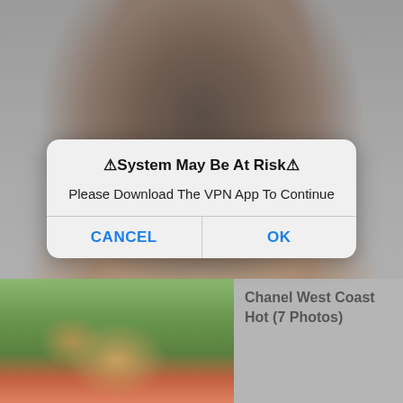[Figure (photo): A dimmed/greyed-out portrait photo of a woman with dark wavy hair as background]
⚠System May Be At Risk⚠
Please Download The VPN App To Continue
CANCEL
OK
[Figure (photo): Thumbnail photo of a woman outdoors with colorful cushions and greenery in the background]
Chanel West Coast Hot (7 Photos)